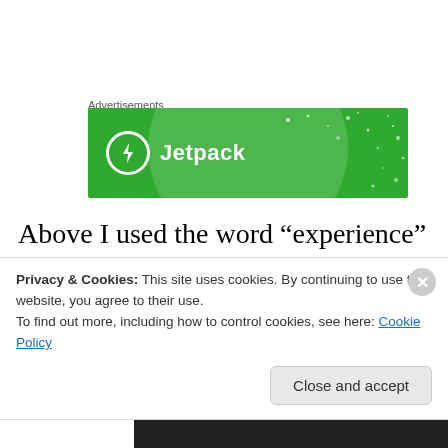Advertisements
[Figure (logo): Jetpack advertisement banner — green background with Jetpack logo (lightning bolt in circle) and text 'Jetpack']
Above I used the word “experience” for a reason.  One bitter-sweet memory comes to mind.  While I do not recall what had upset then-teenage Justin, I remember vividly his tears and one comment.  Referring to the times when I
Privacy & Cookies: This site uses cookies. By continuing to use this website, you agree to their use.
To find out more, including how to control cookies, see here: Cookie Policy
Close and accept